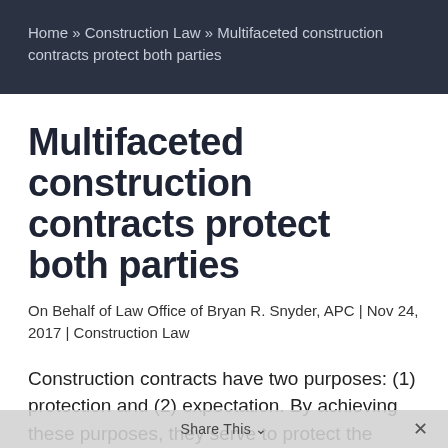Home » Construction Law » Multifaceted construction contracts protect both parties
Multifaceted construction contracts protect both parties
On Behalf of Law Office of Bryan R. Snyder, APC | Nov 24, 2017 | Construction Law
Construction contracts have two purposes: (1) protection and (2) expectation. By achieving these purposes, they serve to protect the